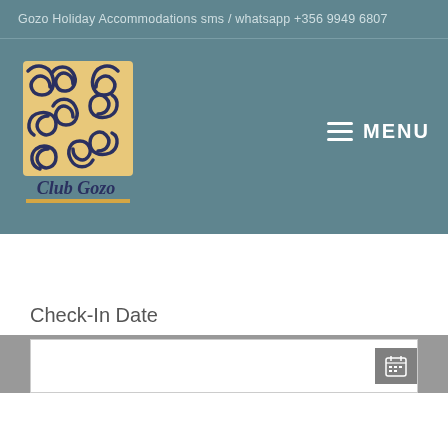Gozo Holiday Accommodations sms / whatsapp +356 9949 6807
[Figure (logo): Club Gozo logo: golden/tan square background with dark navy decorative swirl pattern, text 'Club Gozo' in italic script below, with gold underline]
MENU
Check-In Date